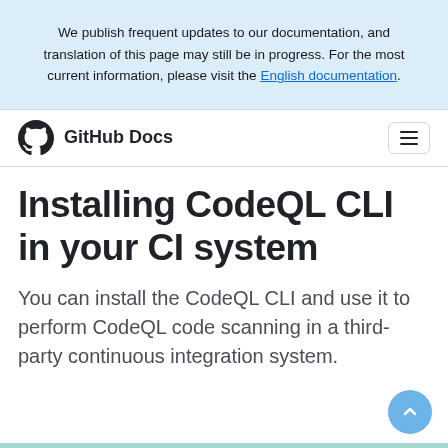We publish frequent updates to our documentation, and translation of this page may still be in progress. For the most current information, please visit the English documentation.
GitHub Docs
Installing CodeQL CLI in your CI system
You can install the CodeQL CLI and use it to perform CodeQL code scanning in a third-party continuous integration system.